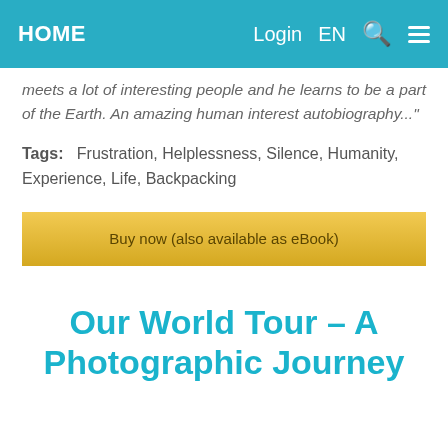HOME   Login   EN
meets a lot of interesting people and he learns to be a part of the Earth. An amazing human interest autobiography..."
Tags:  Frustration, Helplessness, Silence, Humanity, Experience, Life, Backpacking
Buy now (also available as eBook)
Our World Tour – A Photographic Journey